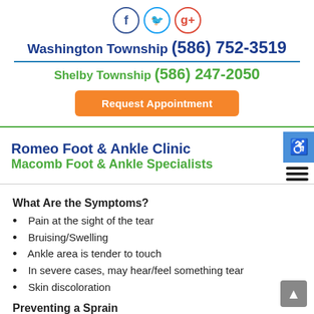[Figure (logo): Social media icons: Facebook, Twitter, Google+]
Washington Township (586) 752-3519
Shelby Township (586) 247-2050
Request Appointment
Romeo Foot & Ankle Clinic
Macomb Foot & Ankle Specialists
What Are the Symptoms?
Pain at the sight of the tear
Bruising/Swelling
Ankle area is tender to touch
In severe cases, may hear/feel something tear
Skin discoloration
Preventing a Sprain
Wearing appropriate shoes for the occasion
Stretching before exercises and sports